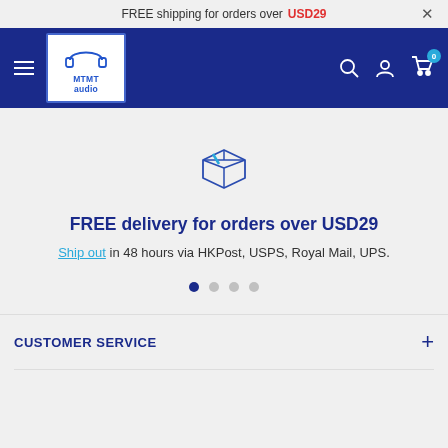FREE shipping for orders over USD29
[Figure (logo): MTMT audio logo with headphones icon in blue on white background with blue border]
[Figure (illustration): Blue box/package icon]
FREE delivery for orders over USD29
Ship out in 48 hours via HKPost, USPS, Royal Mail, UPS.
CUSTOMER SERVICE